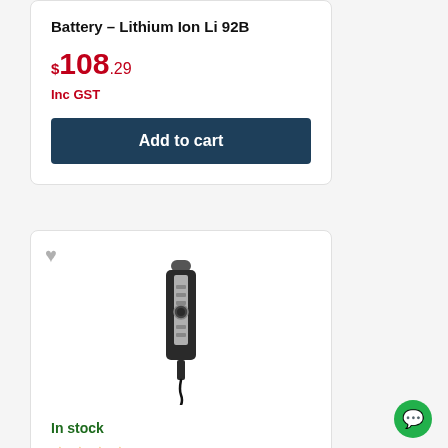Battery – Lithium Ion Li 92B
$108.29
Inc GST
Add to cart
[Figure (photo): A black handheld USB dictation microphone/recorder device with silver accent strip and control buttons, with a cord trailing from the bottom.]
In stock
★★★★ (star rating)